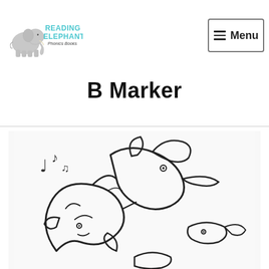Reading Elephant Phonics Books — Menu
B Marker
[Figure (illustration): Line drawing of dolphins or sea creatures intertwined, with musical notes, on a light background. Black outline illustration style.]